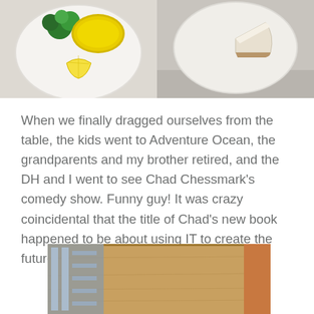[Figure (photo): Two food photos side by side: left shows a white plate with broccoli, yellow couscous/rice, and a lemon wedge; right shows a white plate with a slice of cheesecake]
When we finally dragged ourselves from the table, the kids went to Adventure Ocean, the grandparents and my brother retired, and the DH and I went to see Chad Chessmark's comedy show. Funny guy! It was crazy coincidental that the title of Chad's new book happened to be about using IT to create the future.
[Figure (photo): Bottom photo partially visible, showing a wood-paneled interior scene with metallic shelving or equipment on the left side]